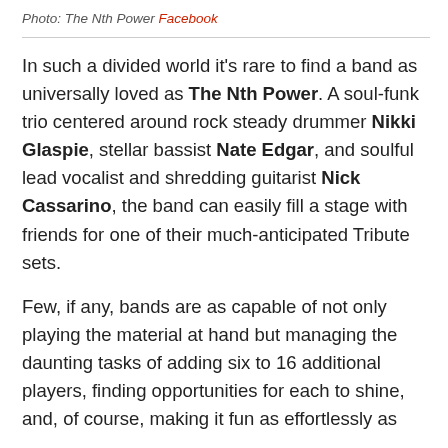Photo: The Nth Power Facebook
In such a divided world it's rare to find a band as universally loved as The Nth Power. A soul-funk trio centered around rock steady drummer Nikki Glaspie, stellar bassist Nate Edgar, and soulful lead vocalist and shredding guitarist Nick Cassarino, the band can easily fill a stage with friends for one of their much-anticipated Tribute sets.
Few, if any, bands are as capable of not only playing the material at hand but managing the daunting tasks of adding six to 16 additional players, finding opportunities for each to shine, and, of course, making it fun as effortlessly as